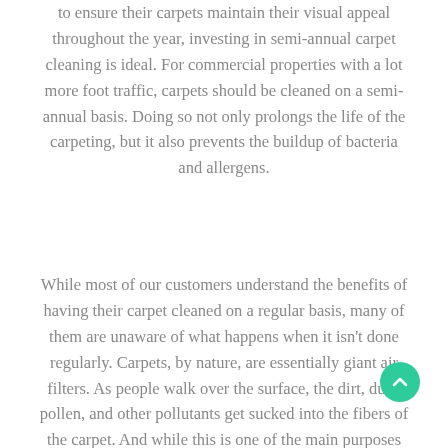to ensure their carpets maintain their visual appeal throughout the year, investing in semi-annual carpet cleaning is ideal. For commercial properties with a lot more foot traffic, carpets should be cleaned on a semi-annual basis. Doing so not only prolongs the life of the carpeting, but it also prevents the buildup of bacteria and allergens.
While most of our customers understand the benefits of having their carpet cleaned on a regular basis, many of them are unaware of what happens when it isn't done regularly. Carpets, by nature, are essentially giant air filters. As people walk over the surface, the dirt, dust, pollen, and other pollutants get sucked into the fibers of the carpet. And while this is one of the main purposes of